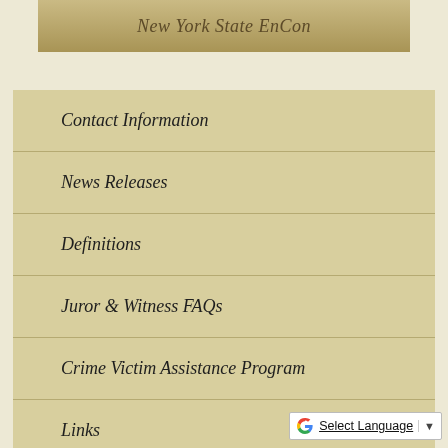New York State EnCon
Contact Information
News Releases
Definitions
Juror & Witness FAQs
Crime Victim Assistance Program
Links
Local Court Information
Select Language